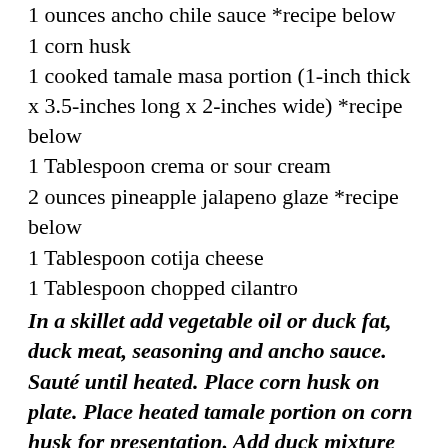1 ounces ancho chile sauce *recipe below
1 corn husk
1 cooked tamale masa portion (1-inch thick x 3.5-inches long x 2-inches wide) *recipe below
1 Tablespoon crema or sour cream
2 ounces pineapple jalapeno glaze *recipe below
1 Tablespoon cotija cheese
1 Tablespoon chopped cilantro
In a skillet add vegetable oil or duck fat, duck meat, seasoning and ancho sauce. Sauté until heated. Place corn husk on plate. Place heated tamale portion on corn husk for presentation. Add duck mixture on top. Top with pineapple glaze. Garnish with crema, cotija and cilantro.